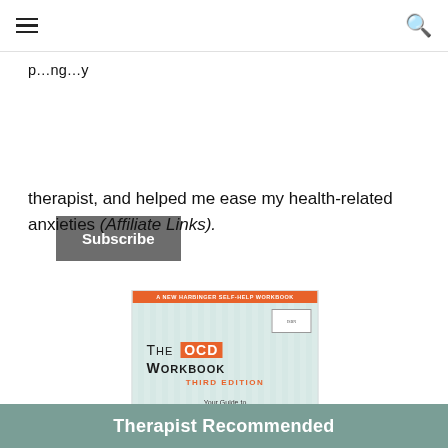≡   🔍
p…ng…y
Subscribe
therapist, and helped me ease my health-related anxieties (Affiliate Links).
[Figure (photo): Book cover of The OCD Workbook, Third Edition by Bruce M. Hyman, Ph.D. and Cherry Pedrick, RN. Published by New Harbinger Self-Help Workbook. Subtitle: Your Guide to Breaking Free from Obsessive Compulsive Disorder. Orange badge reads 'the best-selling, fully revised & updated'.]
Therapist Recommended